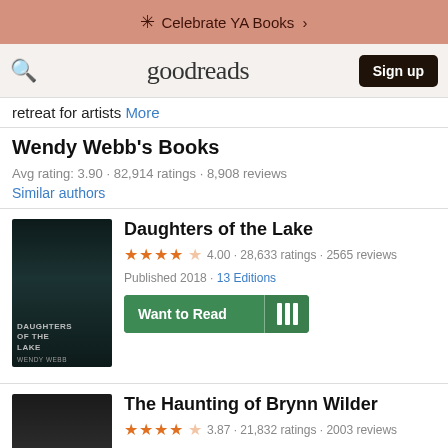Celebrate YA Books >
goodreads  Sign up
retreat for artists More
Wendy Webb's Books
Avg rating: 3.90 · 82,914 ratings · 8,908 reviews
Similar authors
[Figure (screenshot): Book cover for Daughters of the Lake by Wendy Webb]
Daughters of the Lake
4.00 · 28,633 ratings · 2565 reviews
Published 2018 · 13 Editions
Want to Read
[Figure (screenshot): Book cover for The Haunting of Brynn Wilder]
The Haunting of Brynn Wilder
3.87 · 21,832 ratings · 2003 reviews
Published 2020 · 5 Editions